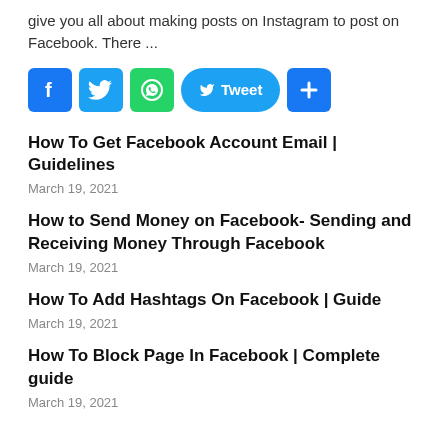give you all about making posts on Instagram to post on Facebook. There ...
[Figure (other): Social share buttons: Facebook, Twitter, WhatsApp, Tweet, and a plus/share button]
How To Get Facebook Account Email | Guidelines
March 19, 2021
How to Send Money on Facebook- Sending and Receiving Money Through Facebook
March 19, 2021
How To Add Hashtags On Facebook | Guide
March 19, 2021
How To Block Page In Facebook | Complete guide
March 19, 2021